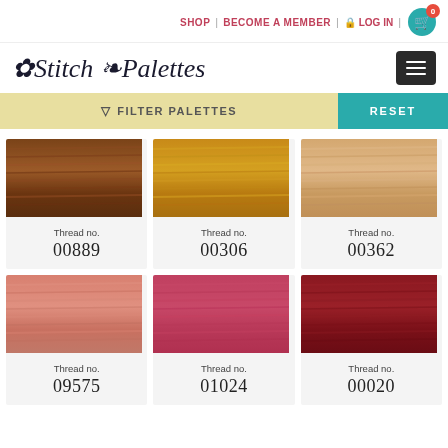SHOP | BECOME A MEMBER | LOG IN | 0
Stitch Palettes
FILTER PALETTES   RESET
[Figure (photo): Brown embroidery thread skein, Thread no. 00889]
Thread no.
00889
[Figure (photo): Golden yellow embroidery thread skein, Thread no. 00306]
Thread no.
00306
[Figure (photo): Light peach/tan embroidery thread skein, Thread no. 00362]
Thread no.
00362
[Figure (photo): Salmon/coral embroidery thread skein, Thread no. 09575]
Thread no.
09575
[Figure (photo): Rose/crimson embroidery thread skein, Thread no. 01024]
Thread no.
01024
[Figure (photo): Deep red embroidery thread skein, Thread no. 00020]
Thread no.
00020